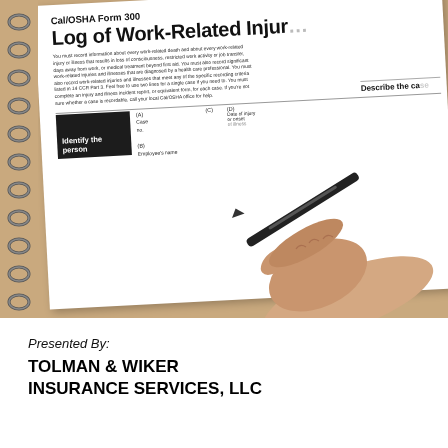[Figure (photo): A photograph of a Cal/OSHA Form 300 'Log of Work-Related Injuries' on a spiral-bound notebook, with a hand holding a pen as if about to write on the form. The form shows section headers 'Identify the person', 'Describe the case', column labels (A) Case no., (B) Employee's name, (C), (D) Date of injury or onset of illness, and instructions text about recording work-related injuries and illnesses. The notebook lies on a tan/brown surface.]
Presented By:
TOLMAN & WIKER INSURANCE SERVICES, LLC